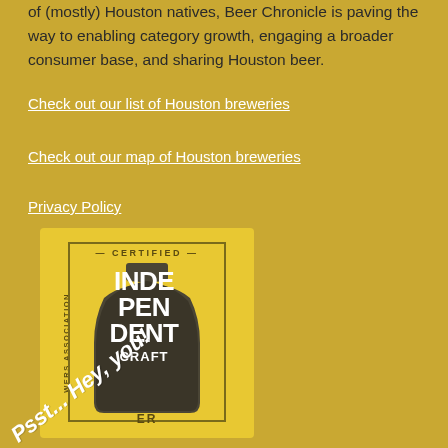of (mostly) Houston natives, Beer Chronicle is paving the way to enabling category growth, engaging a broader consumer base, and sharing Houston beer.
Check out our list of Houston breweries
Check out our map of Houston breweries
Privacy Policy
[Figure (logo): Brewer's Association Certified Independent Craft badge — a yellow card-shaped badge with a dark bottle silhouette in the center, text reading CERTIFIED at top, BREWERS ASSOCIATION on the left side vertically, INDEPENDENT CRAFT large in the bottle, and partial ER text at bottom.]